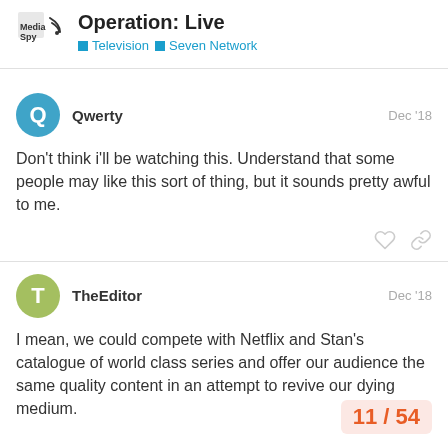Operation: Live — Television > Seven Network
Qwerty  Dec '18
Don't think i'll be watching this. Understand that some people may like this sort of thing, but it sounds pretty awful to me.
TheEditor  Dec '18
I mean, we could compete with Netflix and Stan's catalogue of world class series and offer our audience the same quality content in an attempt to revive our dying medium.

Or we could just, you know, SHOW A WOM LIVE IN PRIMETIME.
11 / 54